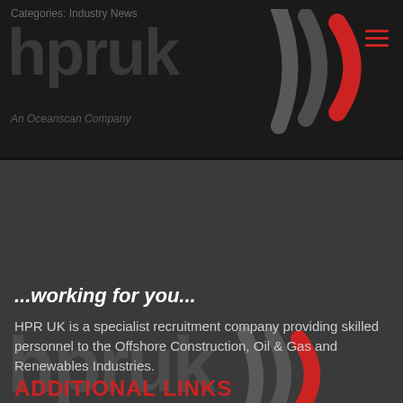Categories: Industry News
[Figure (logo): HPR UK logo with signal arc graphics and 'An Oceanscan Company' subtitle, displayed twice - once in the dark navigation bar and once in the content area below]
...working for you...
HPR UK is a specialist recruitment company providing skilled personnel to the Offshore Construction, Oil & Gas and Renewables Industries.
ADDITIONAL LINKS